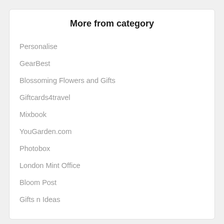More from category
Personalise
GearBest
Blossoming Flowers and Gifts
Giftcards4travel
Mixbook
YouGarden.com
Photobox
London Mint Office
Bloom Post
Gifts n Ideas
Today's Letterbox Gifts top offers